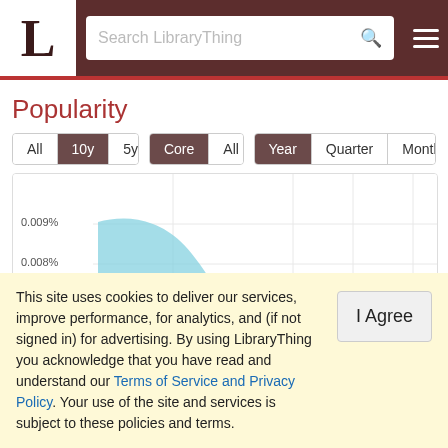LibraryThing - Search LibraryThing
Popularity
[Figure (area-chart): Area chart showing popularity over time with multiple overlapping colored areas (blue, teal/green, salmon/pink). Y-axis shows values from 0.006% to 0.009%. The series decline from a peak on the left and flatten toward the right with small bumps.]
This site uses cookies to deliver our services, improve performance, for analytics, and (if not signed in) for advertising. By using LibraryThing you acknowledge that you have read and understand our Terms of Service and Privacy Policy. Your use of the site and services is subject to these policies and terms.